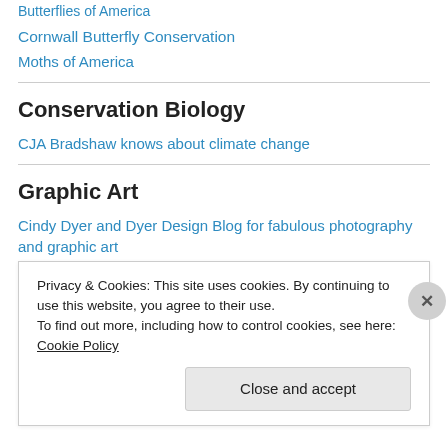Butterflies of America
Cornwall Butterfly Conservation
Moths of America
Conservation Biology
CJA Bradshaw knows about climate change
Graphic Art
Cindy Dyer and Dyer Design Blog for fabulous photography and graphic art
Privacy & Cookies: This site uses cookies. By continuing to use this website, you agree to their use.
To find out more, including how to control cookies, see here: Cookie Policy
Close and accept